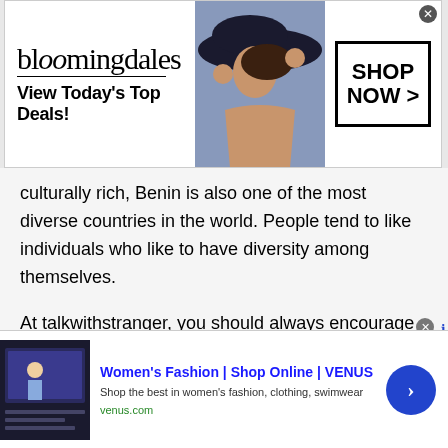[Figure (screenshot): Bloomingdale's advertisement banner with logo, 'View Today's Top Deals!' tagline, woman with hat photo, and 'SHOP NOW >' button]
culturally rich, Benin is also one of the most diverse countries in the world. People tend to like individuals who like to have diversity among themselves.
At talkwithstranger, you should always encourage diversity. As mentioned, people from all over the world are present on this platform. By simply encouraging other people's cultural and traditional values you will become an ambassador for diversity. This will automatically attract people to chat with
[Figure (screenshot): VENUS women's fashion online shopping advertisement with blue arrow button]